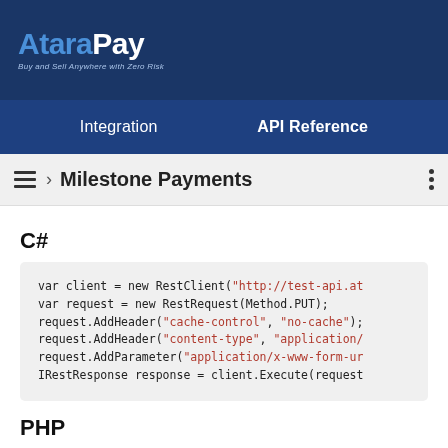AtaraPay — Buy and Sell Anywhere with Zero Risk
Integration | API Reference
› Milestone Payments
C#
var client = new RestClient("http://test-api.at
var request = new RestRequest(Method.PUT);
request.AddHeader("cache-control", "no-cache");
request.AddHeader("content-type", "application/
request.AddParameter("application/x-www-form-ur
IRestResponse response = client.Execute(request
PHP
$request = new HttpRequest();